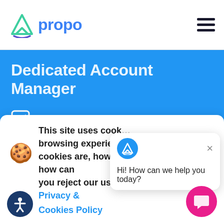Apropo - navigation header with hamburger menu
Dedicated Account Manager
Satisfaction guaranteed or money back
This site uses cookies to improve your browsing experience. To find out what cookies are, how we use cookies and how can you reject our using of cookies in our Privacy & Cookies Policy
Hi! How can we help you today?